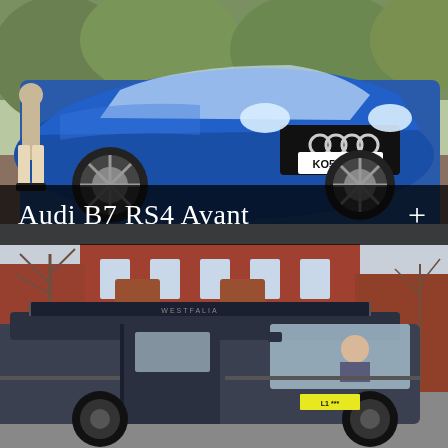[Figure (photo): Blue Audi B7 RS4 Avant parked on a brick driveway with a person standing beside it. UK license plate KO56 HHV visible. Surrounded by trees and greenery.]
Audi B7 RS4 Avant
[Figure (photo): Dark grey Volkswagen Transporter/Westfalia camper van parked on a residential street in front of a red brick Victorian building. A person is visible sitting in the driver's seat with the sliding door open. A roof rack/storage unit is visible on top.]